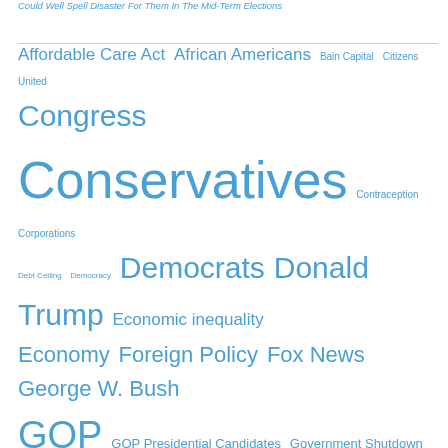Could Well Spell Disaster For Them In The Mid-Term Elections
[Figure (infographic): Tag cloud of political topics in varying font sizes, all in blue. Topics include: Affordable Care Act, African Americans, Bain Capital, Citizens United, Congress, Conservatives, Contraception, Corporations, Debt Ceiling, Democracy, Democrats, Donald Trump, Economic inequality, Economy, Foreign Policy, Fox News, George W. Bush, GOP, GOP Presidential Candidates, Government Shutdown, Gun Control, Gun Violence, Health Exchanges, Health Insurance, Hillary Clinton, House Republicans, Immigration, Immigration Reform, Iraq War, ISIS, Jeb Bush, Jobs, John Boehner, John McCain, Koch Brothers, Lindsey Graham, Marco Rubio, media, Medicaid, Medicare, Middle Class, Middle East, Minorities, Mitch McConnell, Mitt Romney, National Security, Newt Gingrich, NRA, ObamaCare, Paul Ryan]